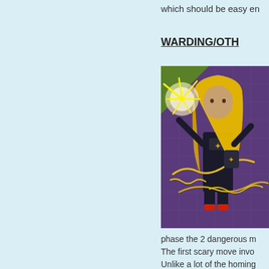which should be easy en
WARDING/OTH
[Figure (illustration): A fantasy game character with long blonde hair and dark armor casting lightning bolts on a purple/stone background.]
phase the 2 dangerous m The first scary move invo Unlike a lot of the homing